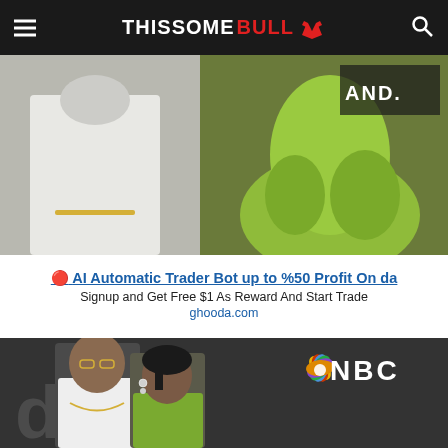THISSOME BULL (logo with bull icon)
[Figure (photo): Two people at what appears to be a Billboard Music Awards event. One person wearing white, one wearing a bright green/lime dress. 'AND.' text visible on backdrop.]
🔴 AI Automatic Trader Bot up to %50 Profit On da
Signup and Get Free $1 As Reward And Start Trade
ghooda.com
[Figure (photo): A couple posing in front of an NBC Billboard Music Awards backdrop. Man wearing white jacket with chain necklace, woman wearing green outfit.]